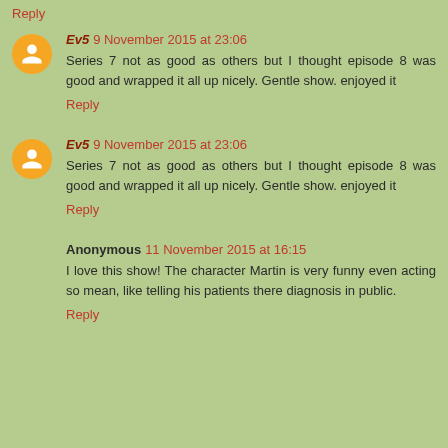Reply
Ev5 9 November 2015 at 23:06
Series 7 not as good as others but I thought episode 8 was good and wrapped it all up nicely. Gentle show. enjoyed it
Reply
Ev5 9 November 2015 at 23:06
Series 7 not as good as others but I thought episode 8 was good and wrapped it all up nicely. Gentle show. enjoyed it
Reply
Anonymous 11 November 2015 at 16:15
I love this show! The character Martin is very funny even acting so mean, like telling his patients there diagnosis in public.
Reply